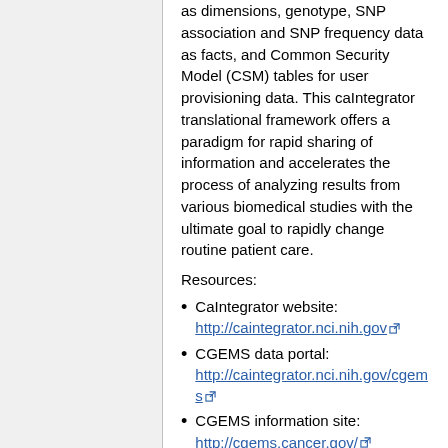as dimensions, genotype, SNP association and SNP frequency data as facts, and Common Security Model (CSM) tables for user provisioning data. This caIntegrator translational framework offers a paradigm for rapid sharing of information and accelerates the process of analyzing results from various biomedical studies with the ultimate goal to rapidly change routine patient care.
Resources:
CaIntegrator website: http://caintegrator.nci.nih.gov
CGEMS data portal: http://caintegrator.nci.nih.gov/cgems
CGEMS information site: http://cgems.cancer.gov/
CaIntegrator open source license: http://ncicb.nci.nih.gov/download/acin...